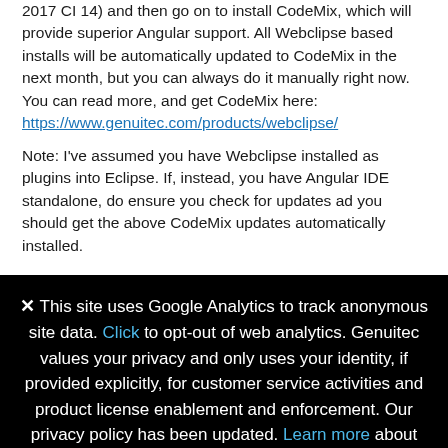2017 CI 14) and then go on to install CodeMix, which will provide superior Angular support. All Webclipse based installs will be automatically updated to CodeMix in the next month, but you can always do it manually right now. You can read more, and get CodeMix here:
https://www.genuitec.com/products/webclipse/
Note: I've assumed you have Webclipse installed as plugins into Eclipse. If, instead, you have Angular IDE standalone, do ensure you check for updates ad you should get the above CodeMix updates automatically installed.
✕  This site uses Google Analytics to track anonymous site data. Click to opt-out of web analytics. Genuitec values your privacy and only uses your identity, if provided explicitly, for customer service activities and product license enablement and enforcement. Our privacy policy has been updated. Learn more about our privacy policy.